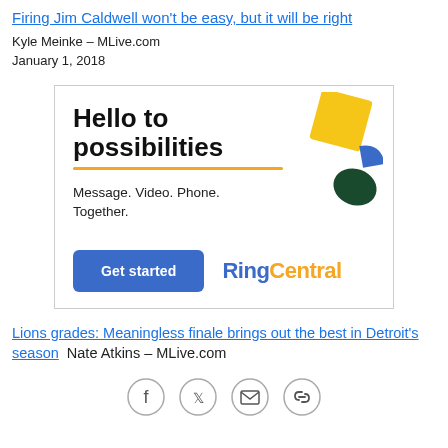Firing Jim Caldwell won't be easy, but it will be right
Kyle Meinke – MLive.com
January 1, 2018
[Figure (illustration): RingCentral advertisement: 'Hello to possibilities' with orange underline, 'Message. Video. Phone. Together.' subtext, 'Get started' blue button, RingCentral logo, and decorative colored shapes (yellow square, blue shape, dark green shape).]
Lions grades: Meaningless finale brings out the best in Detroit's season Nate Atkins – MLive.com
[Figure (infographic): Social sharing icons row: Facebook, Twitter, Email, Link]